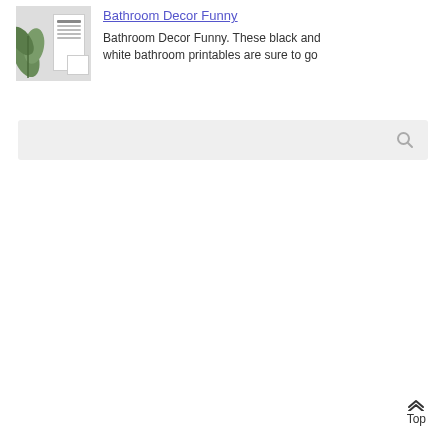[Figure (photo): Thumbnail image showing black and white bathroom printables with a plant]
Bathroom Decor Funny
Bathroom Decor Funny. These black and white bathroom printables are sure to go
[Figure (screenshot): Search bar with a magnifying glass icon on gray background]
Top